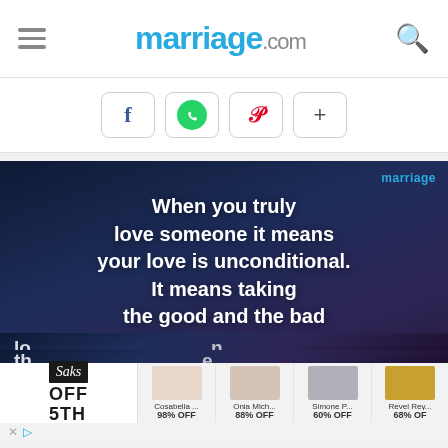marriage.com
[Figure (screenshot): Social share buttons: Facebook (f), WhatsApp (green circle), Pinterest (P), and plus (+) in rounded rectangle borders]
[Figure (illustration): Dark navy/purple gradient background with white bold text quote: 'When you truly love someone it means your love is unconditional. It means taking the good and the bad' with marriage watermark in top right. Partially covered by advertisement banner at bottom.]
[Figure (screenshot): Saks Off 5th advertisement banner showing Saks logo, OFF 5TH text, and product thumbnails: Cosabella 98% OFF, Onia Mich... 88% OFF, Simone P... 60% OFF, Revel Rey... 68% OFF]